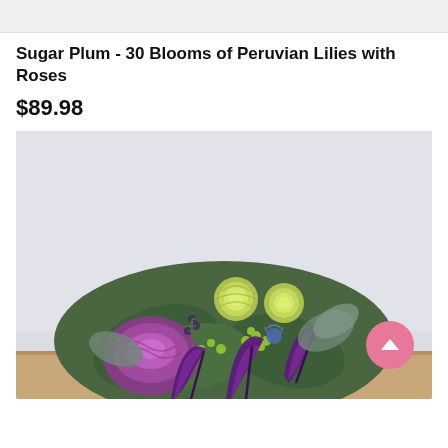[Figure (photo): Top portion of a flower product image, cropped at the top of the page showing a light background]
Sugar Plum - 30 Blooms of Peruvian Lilies with Roses
$89.98
[Figure (photo): Photo of a floral arrangement called Sugar Plum featuring purple calla lilies, green roses, purple ornamental cabbage, blue thistle, and green hypericum berries against a light gray background. A pink circular scroll-up button with an upward arrow chevron is visible in the lower right.]